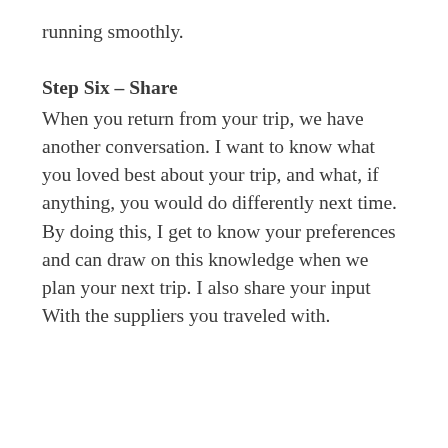running smoothly.
Step Six – Share
When you return from your trip, we have another conversation. I want to know what you loved best about your trip, and what, if anything, you would do differently next time. By doing this, I get to know your preferences and can draw on this knowledge when we plan your next trip. I also share your input With the suppliers you traveled with.